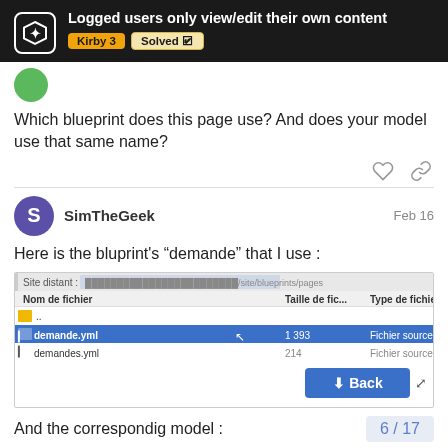Logged users only view/edit their own content — Kirby 3 Solved
Which blueprint does this page use? And does your model use that same name?
SimTheGeek Feb 16
Here is the bluprint's “demande” that I use :
[Figure (screenshot): FTP client screenshot showing site/blueprints/pages directory with demande.yml (1 393 bytes, Fichier source Yaml) highlighted in blue and demandes.yml (214 bytes) below it. A blue Back button appears at bottom right.]
And the correspondig model :
6 / 17